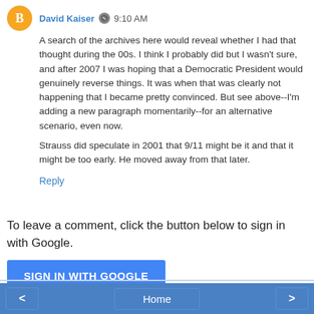David Kaiser  9:10 AM
A search of the archives here would reveal whether I had that thought during the 00s. I think I probably did but I wasn't sure, and after 2007 I was hoping that a Democratic President would genuinely reverse things. It was when that was clearly not happening that I became pretty convinced. But see above--I'm adding a new paragraph momentarily--for an alternative scenario, even now.
Strauss did speculate in 2001 that 9/11 might be it and that it might be too early. He moved away from that later.
Reply
To leave a comment, click the button below to sign in with Google.
SIGN IN WITH GOOGLE
< Home >